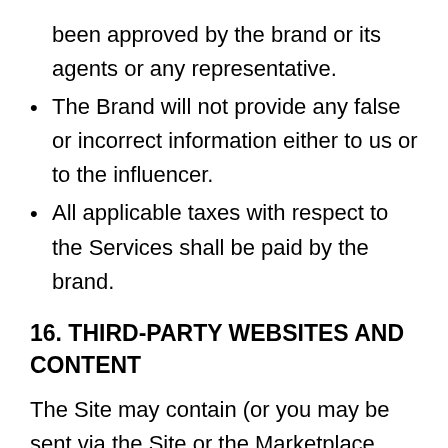been approved by the brand or its agents or any representative.
The Brand will not provide any false or incorrect information either to us or to the influencer.
All applicable taxes with respect to the Services shall be paid by the brand.
16. THIRD-PARTY WEBSITES AND CONTENT
The Site may contain (or you may be sent via the Site or the Marketplace Offerings) links to other websites ("Third-Party Websites") as well as articles, photographs, text, graphics, pictures, designs, music, sound, video, information, applications, software, and